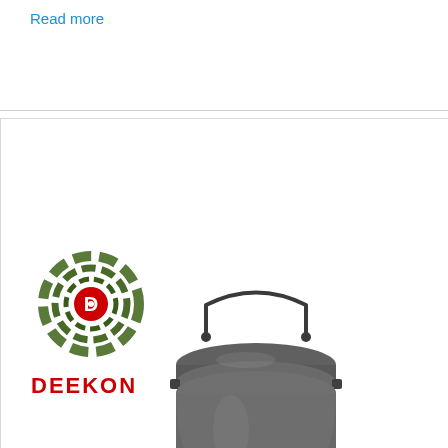Read more
[Figure (logo): Deekon company logo with circular camouflage target design and red D letter in center, with DEEKON text in red below]
[Figure (photo): Dark grey/olive military mess kit cooking pot with wire bail handle and lid, cylindrical shape with locking clips on sides]